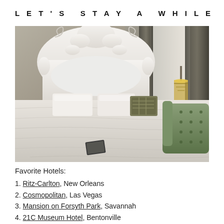LET'S STAY A WHILE
[Figure (photo): Hotel room with an ornate white baroque headboard on a bed with white bedding and a patterned pillow, with a green tufted chaise lounge and chandelier visible in the background]
Favorite Hotels:
1. Ritz-Carlton, New Orleans
2. Cosmopolitan, Las Vegas
3. Mansion on Forsyth Park, Savannah
4. 21C Museum Hotel, Bentonville
5. The Driskill, Austin